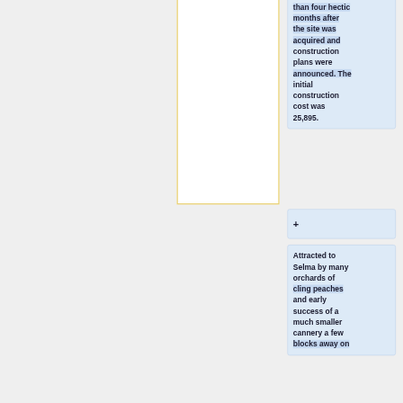than four hectic months after the site was acquired and construction plans were announced. The initial construction cost was 25,895.
+
Attracted to Selma by many orchards of cling peaches and early success of a much smaller cannery a few blocks away on